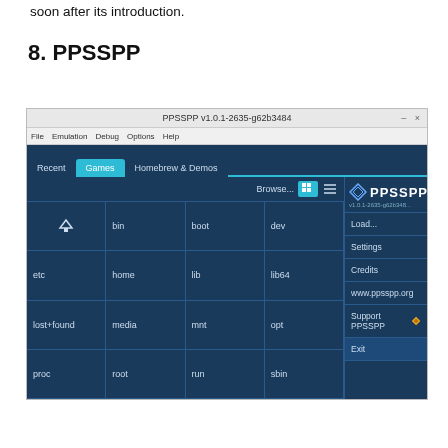soon after its introduction.
8. PPSSPP
[Figure (screenshot): Screenshot of PPSSPP v1.0.1-2635-g62b3484 emulator window showing file browser with tabs: Recent, Games, Homebrew & Demos. Left panel shows file grid with entries: bin, boot, dev (row 1), etc, home, lib, lib64 (row 2), lost+found, media, mnt, opt (row 3), proc, root, run, sbin (row 4). Right sidebar shows PPSSPP logo and menu items: Load..., Settings, Credits, www.ppsspp.org, Support PPSSPP, Exit.]